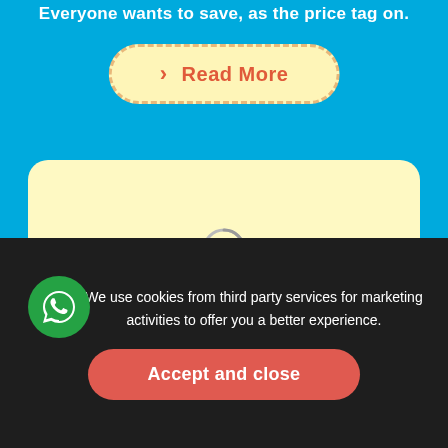Everyone wants to save, as the price tag on.
> Read More
[Figure (other): Light yellow rounded card with a loading spinner circle in the center]
We use cookies from third party services for marketing activities to offer you a better experience.
Accept and close